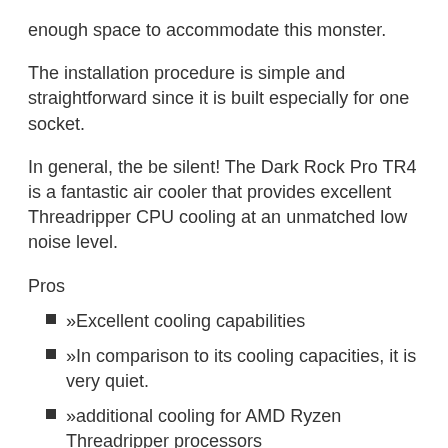enough space to accommodate this monster.
The installation procedure is simple and straightforward since it is built especially for one socket.
In general, the be silent! The Dark Rock Pro TR4 is a fantastic air cooler that provides excellent Threadripper CPU cooling at an unmatched low noise level.
Pros
»Excellent cooling capabilities
»In comparison to its cooling capacities, it is very quiet.
»additional cooling for AMD Ryzen Threadripper processors